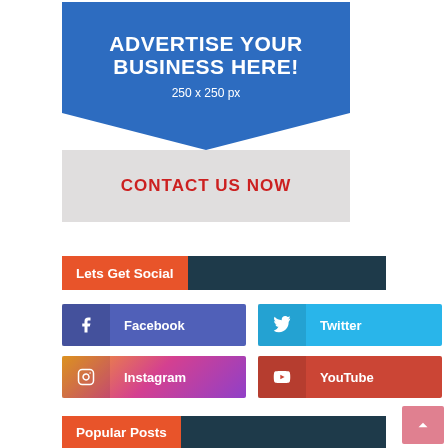[Figure (advertisement): Advertisement banner with blue top section reading 'ADVERTISE YOUR BUSINESS HERE!' and '250 x 250 px', light gray bottom section with 'CONTACT US NOW' in red.]
Lets Get Social
[Figure (infographic): Four social media buttons: Facebook (purple), Twitter (light blue), Instagram (gradient), YouTube (red)]
Popular Posts